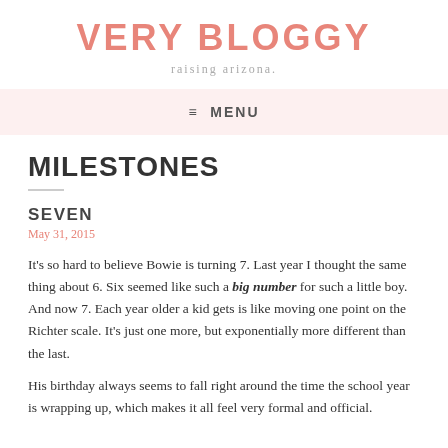VERY BLOGGY
raising arizona.
≡ MENU
MILESTONES
SEVEN
May 31, 2015
It's so hard to believe Bowie is turning 7. Last year I thought the same thing about 6. Six seemed like such a big number for such a little boy. And now 7. Each year older a kid gets is like moving one point on the Richter scale. It's just one more, but exponentially more different than the last.
His birthday always seems to fall right around the time the school year is wrapping up, which makes it all feel very formal and official.